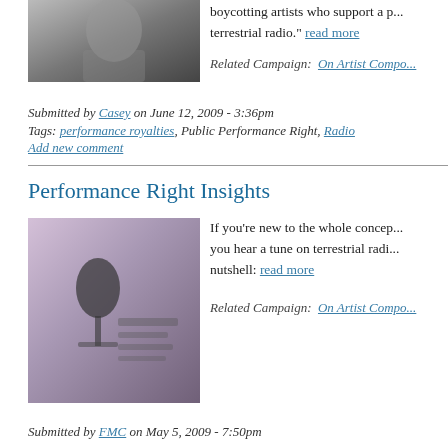[Figure (photo): Black and white photo of a person with hand near face]
boycotting artists who support a p... terrestrial radio. read more
Related Campaign: On Artist Compo...
Submitted by Casey on June 12, 2009 - 3:36pm
Tags: performance royalties, Public Performance Right, Radio
Add new comment
Performance Right Insights
[Figure (photo): Photo of a microphone and radio equipment in purple/monochrome tones]
If you're new to the whole concep... you hear a tune on terrestrial radi... nutshell: read more
Related Campaign: On Artist Compo...
Submitted by FMC on May 5, 2009 - 7:50pm